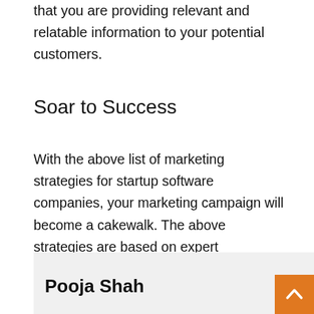that you are providing relevant and relatable information to your potential customers.
Soar to Success
With the above list of marketing strategies for startup software companies, your marketing campaign will become a cakewalk. The above strategies are based on expert recommendations, market trends, and in-depth research and will help you achieve maximum success and growth for your business. Stick to these strategies and help your startup software company climb the ladder of success!
Pooja Shah